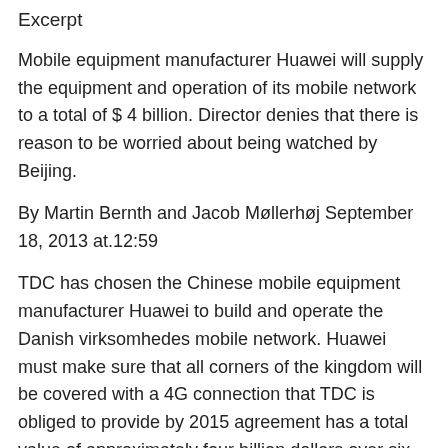Excerpt
Mobile equipment manufacturer Huawei will supply the equipment and operation of its mobile network to a total of $ 4 billion. Director denies that there is reason to be worried about being watched by Beijing.
By Martin Bernth and Jacob Møllerhøj September 18, 2013 at.12:59
TDC has chosen the Chinese mobile equipment manufacturer Huawei to build and operate the Danish virksomhedes mobile network. Huawei must make sure that all corners of the kingdom will be covered with a 4G connection that TDC is obliged to provide by 2015 agreement has a total value of approximately four billion dollars over six years.